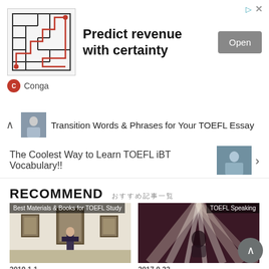[Figure (screenshot): Advertisement banner for Conga – Predict revenue with certainty, with Open button]
Transition Words & Phrases for Your TOEFL Essay
The Coolest Way to Learn TOEFL iBT Vocabulary!!
RECOMMEND  おすすめ記事一覧
[Figure (photo): Person standing in an art gallery viewing paintings. Badge: Best Materials & Books for TOEFL Study]
2019.1.1
How to Properly Praise Someone?
[Figure (photo): Bright light rays with person reading. Badge: TOEFL Speaking]
2017.9.23
Argument Materials for TOEFL Speakin